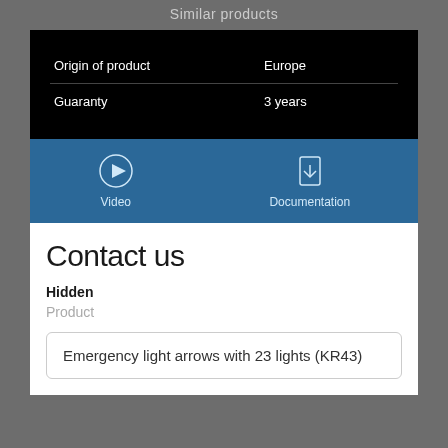Similar products
|  |  |
| --- | --- |
| Origin of product | Europe |
| Guaranty | 3 years |
[Figure (infographic): Blue bar with Video (play icon) and Documentation (download icon) options]
Contact us
Hidden
Product
Emergency light arrows with 23 lights (KR43)